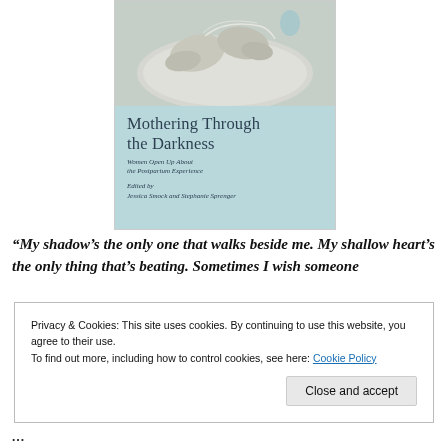[Figure (illustration): Book cover of 'Mothering Through the Darkness: Women Open Up About the Postpartum Experience', edited by Jessica Smock and Stephanie Sprenger. Light blue/teal cover with knitted baby booties on a plate at the top.]
“My shadow’s the only one that walks beside me. My shallow heart’s the only thing that’s beating. Sometimes I wish someone
Privacy & Cookies: This site uses cookies. By continuing to use this website, you agree to their use.
To find out more, including how to control cookies, see here: Cookie Policy
Close and accept